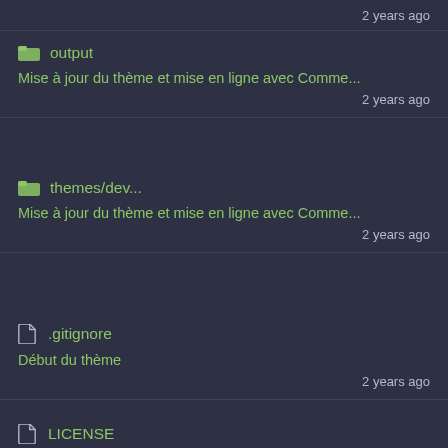2 years ago
output
Mise à jour du thème et mise en ligne avec Comme...
2 years ago
themes/dev...
Mise à jour du thème et mise en ligne avec Comme...
2 years ago
.gitignore
Début du thème
2 years ago
LICENSE